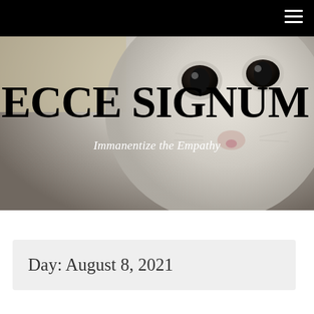[Figure (photo): Close-up photo of a white cat's face with large dark eyes, serving as the hero background image for the website]
ECCE SIGNUM
Immanentize the Empathy
Day: August 8, 2021